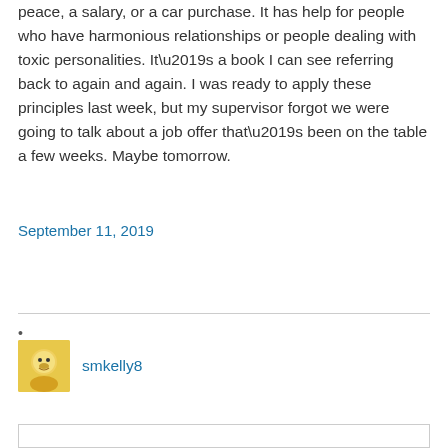peace, a salary, or a car purchase. It has help for people who have harmonious relationships or people dealing with toxic personalities. It’s a book I can see referring back to again and again. I was ready to apply these principles last week, but my supervisor forgot we were going to talk about a job offer that’s been on the table a few weeks. Maybe tomorrow.
September 11, 2019
smkelly8